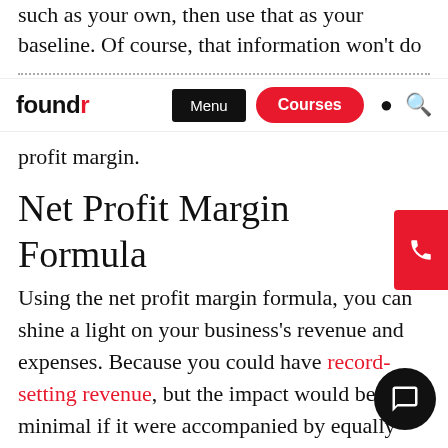such as your own, then use that as your baseline. Of course, that information won't do you any good unless you know how to calculate
foundr — Menu | Courses
profit margin.
Net Profit Margin Formula
Using the net profit margin formula, you can shine a light on your business's revenue and expenses. Because you could have record-setting revenue, but the impact would be minimal if it were accompanied by equally expenses.